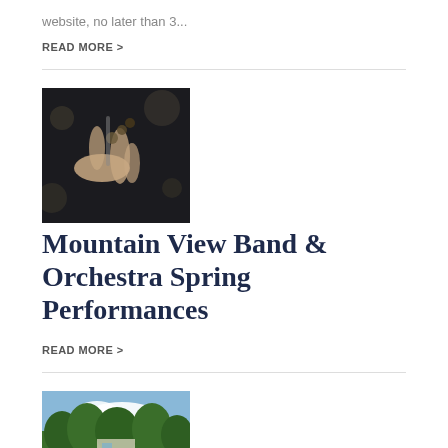website, no later than 3...
READ MORE >
[Figure (photo): Hands playing a musical instrument (woodwind/clarinet), close-up, dark background]
Mountain View Band & Orchestra Spring Performances
READ MORE >
[Figure (photo): Group of students outdoors with trees and blue sky in background]
Mountain View students